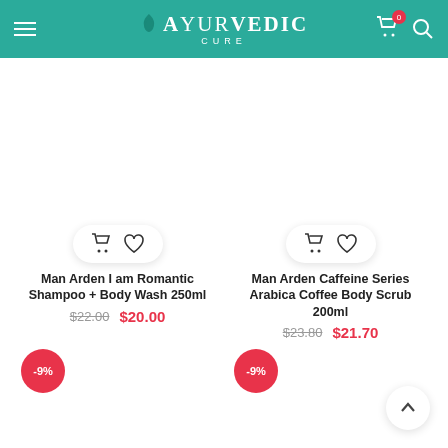[Figure (screenshot): Ayurvedic Cure website header with teal background, hamburger menu on left, logo in center, cart and search icons on right]
[Figure (other): Product card for Man Arden I am Romantic Shampoo + Body Wash 250ml with cart and wishlist action buttons]
Man Arden I am Romantic Shampoo + Body Wash 250ml
$22.00 $20.00
[Figure (other): Discount badge showing -9%]
[Figure (other): Product card for Man Arden Caffeine Series Arabica Coffee Body Scrub 200ml with cart and wishlist action buttons]
Man Arden Caffeine Series Arabica Coffee Body Scrub 200ml
$23.80 $21.70
[Figure (other): Discount badge showing -9%]